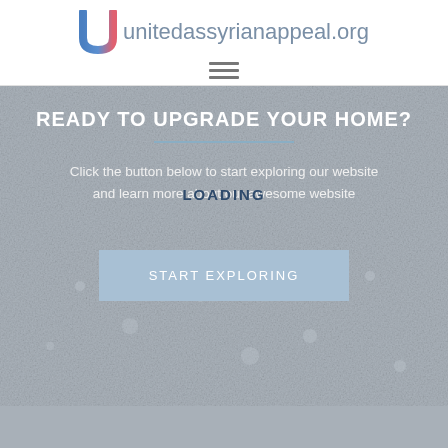[Figure (logo): United Syrian Appeal logo with stylized U in blue and pink, followed by text 'unitedassyrianappeal.org']
[Figure (other): Hamburger menu icon with three horizontal lines]
READY TO UPGRADE YOUR HOME?
Click the button below to start exploring our website and learn more about our awesome website
LOADING
START EXPLORING